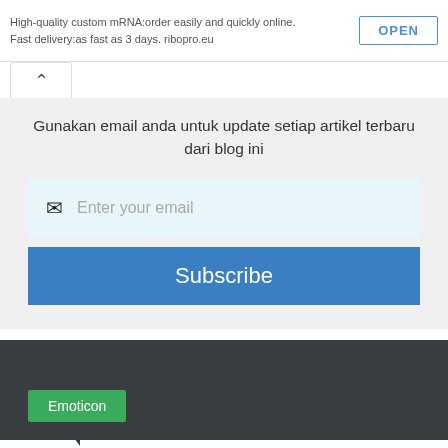High-quality custom mRNA:order easily and quickly online. Fast delivery:as fast as 3 days. ribopro.eu
Gunakan email anda untuk update setiap artikel terbaru dari blog ini
Enter your email
Subscribe
Emoticon